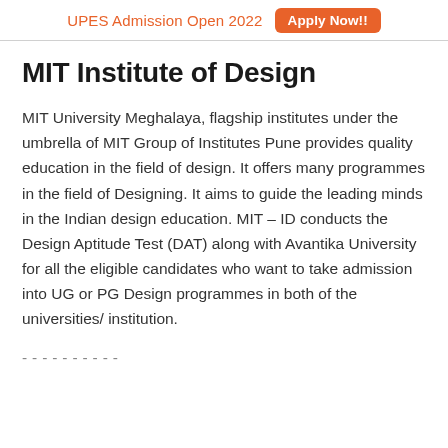UPES Admission Open 2022  Apply Now!!
MIT Institute of Design
MIT University Meghalaya, flagship institutes under the umbrella of MIT Group of Institutes Pune provides quality education in the field of design. It offers many programmes in the field of Designing. It aims to guide the leading minds in the Indian design education. MIT – ID conducts the Design Aptitude Test (DAT) along with Avantika University for all the eligible candidates who want to take admission into UG or PG Design programmes in both of the universities/ institution.
- - - - - - - - - -